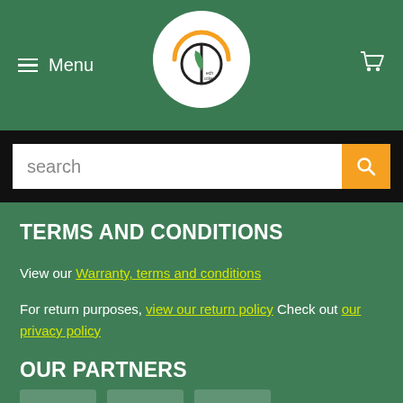Menu [hamburger icon] [logo] [cart icon]
[Figure (logo): Circular logo with green leaf and orange arc design with text]
search
TERMS AND CONDITIONS
View our Warranty, terms and conditions
For return purposes, view our return policy Check out our privacy policy
OUR PARTNERS